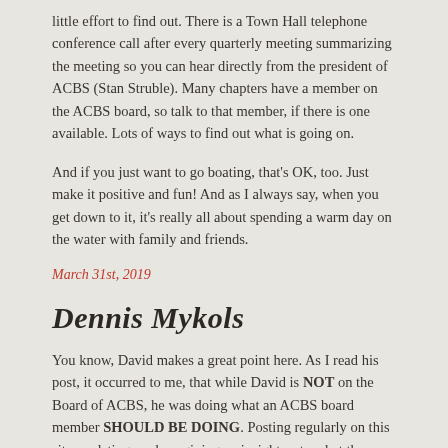little effort to find out. There is a Town Hall telephone conference call after every quarterly meeting summarizing the meeting so you can hear directly from the president of ACBS (Stan Struble). Many chapters have a member on the ACBS board, so talk to that member, if there is one available. Lots of ways to find out what is going on.
And if you just want to go boating, that's OK, too. Just make it positive and fun! And as I always say, when you get down to it, it's really all about spending a warm day on the water with family and friends.
March 31st, 2019
Dennis Mykols
You know, David makes a great point here. As I read his post, it occurred to me, that while David is NOT on the Board of ACBS, he was doing what an ACBS board member SHOULD BE DOING. Posting regularly on this site, updating readers, giving an insight as to what the ACBS board is thinking, the direction they are going, etc. TALKwell do NON ACBS members have a right to...